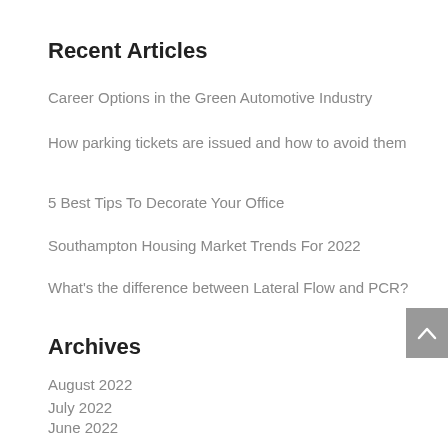Recent Articles
Career Options in the Green Automotive Industry
How parking tickets are issued and how to avoid them
5 Best Tips To Decorate Your Office
Southampton Housing Market Trends For 2022
What's the difference between Lateral Flow and PCR?
Archives
August 2022
July 2022
June 2022
May 2022
April 2022